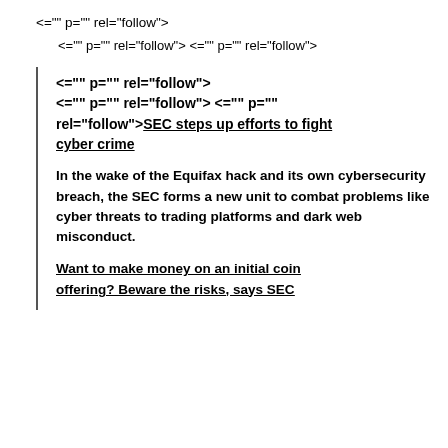<="" p="" rel="follow">
<="" p="" rel="follow"> <="" p="" rel="follow">
<="" p="" rel="follow">
<="" p="" rel="follow"> <="" p=""
rel="follow">SEC steps up efforts to fight cyber crime
In the wake of the Equifax hack and its own cybersecurity breach, the SEC forms a new unit to combat problems like cyber threats to trading platforms and dark web misconduct.
Want to make money on an initial coin offering? Beware the risks, says SEC